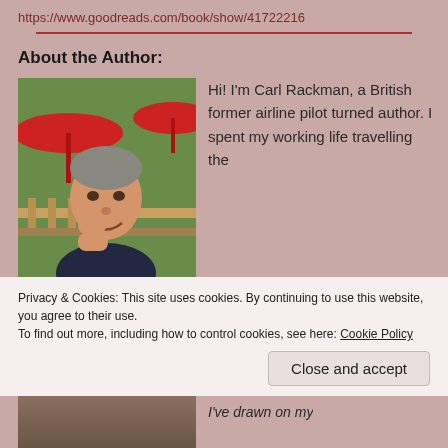https://www.goodreads.com/book/show/41722216
About the Author:
[Figure (photo): Author Carl Rackman seated outdoors, smiling, with red umbrella and greenery in background]
Hi! I'm Carl Rackman, a British former airline pilot turned author. I spent my working life travelling the
Privacy & Cookies: This site uses cookies. By continuing to use this website, you agree to their use.
To find out more, including how to control cookies, see here: Cookie Policy
Close and accept
I've drawn on my